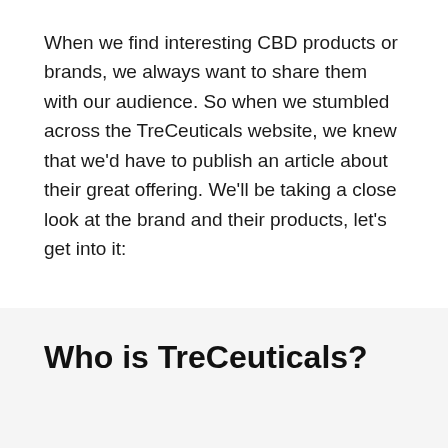When we find interesting CBD products or brands, we always want to share them with our audience. So when we stumbled across the TreCeuticals website, we knew that we'd have to publish an article about their great offering. We'll be taking a close look at the brand and their products, let's get into it:
Who is TreCeuticals?